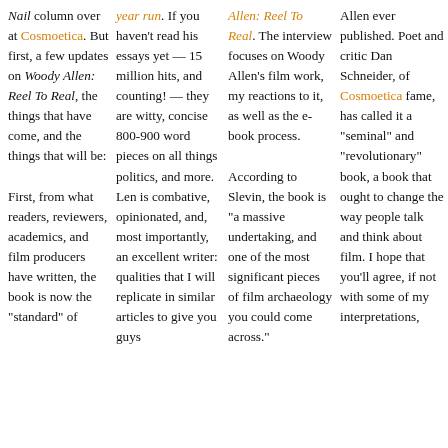Nail column over at Cosmoetica. But first, a few updates on Woody Allen: Reel To Real, the things that have come, and the things that will be:
First, from what readers, reviewers, academics, and film producers have written, the book is now the "standard" of
year run. If you haven't read his essays yet — 15 million hits, and counting! — they are witty, concise 800-900 word pieces on all things politics, and more. Len is combative, opinionated, and, most importantly, an excellent writer: qualities that I will replicate in similar articles to give you guys
Allen: Reel To Real. The interview focuses on Woody Allen's film work, my reactions to it, as well as the e-book process.
According to Slevin, the book is "a massive undertaking, and one of the most significant pieces of film archaeology you could come across."
Allen ever published. Poet and critic Dan Schneider, of Cosmoetica fame, has called it a "seminal" and "revolutionary" book, a book that ought to change the way people talk and think about film. I hope that you'll agree, if not with some of my interpretations,